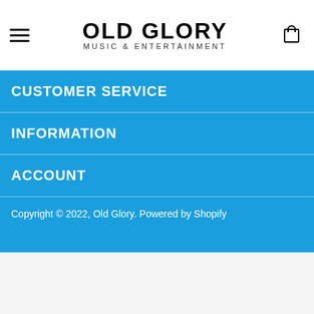OLD GLORY MUSIC & ENTERTAINMENT
CUSTOMER SERVICE
INFORMATION
ACCOUNT
Copyright © 2022, Old Glory. Powered by Shopify
[Figure (other): Payment method icons: Amex, Apple Pay, Diners Club, Discover, JCB, Mastercard, PayPal, Visa]
$36.95
$16.97
SM / Black
ADD TO CART